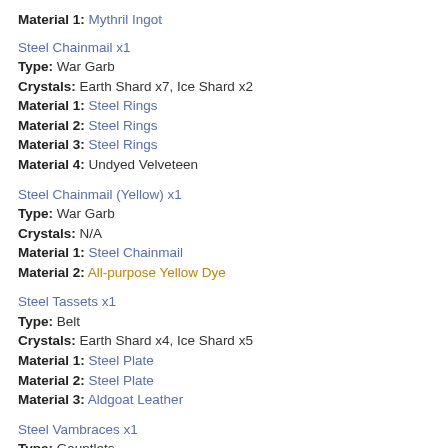Material 1: Mythril Ingot
Steel Chainmail x1
Type: War Garb
Crystals: Earth Shard x7, Ice Shard x2
Material 1: Steel Rings
Material 2: Steel Rings
Material 3: Steel Rings
Material 4: Undyed Velveteen
Steel Chainmail (Yellow) x1
Type: War Garb
Crystals: N/A
Material 1: Steel Chainmail
Material 2: All-purpose Yellow Dye
Steel Tassets x1
Type: Belt
Crystals: Earth Shard x4, Ice Shard x5
Material 1: Steel Plate
Material 2: Steel Plate
Material 3: Aldgoat Leather
Steel Vambraces x1
Type: Gauntlets
Crystals: Earth Shard x4, Ice Shard x5
Material 1: Steel Plate
Material 2: Boar Leather
Material 3: Boar Leather
Steel Vambraces (Red) x1